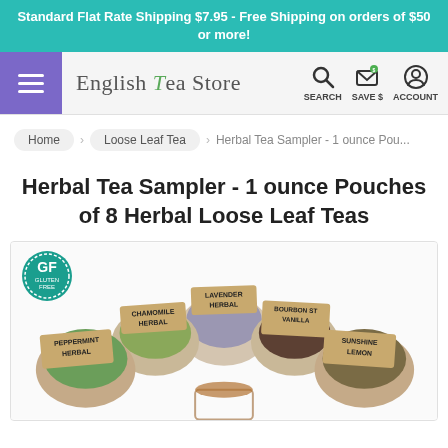Standard Flat Rate Shipping $7.95 - Free Shipping on orders of $50 or more!
[Figure (logo): English Tea Store logo with navigation icons (search, save $, account) and hamburger menu]
Home > Loose Leaf Tea > Herbal Tea Sampler - 1 ounce Pou...
Herbal Tea Sampler - 1 ounce Pouches of 8 Herbal Loose Leaf Teas
[Figure (photo): Product photo showing wooden bowls of herbal loose leaf teas labeled: Peppermint Herbal, Chamomile Herbal, Lavender Herbal, Bourbon St Vanilla, Sunshine Lemon. A Gluten Free badge is shown in the top left corner.]